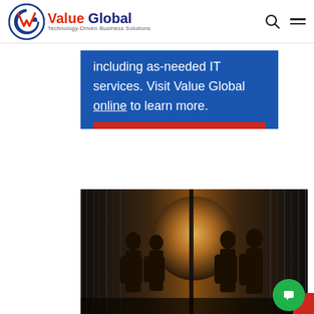Value Global – Technology-Driven Business Solutions
including as-needed IT services. Visit Value Global online to learn more.
[Figure (photo): Silhouettes of four business professionals standing in front of glass building windows with bright sunlight behind them.]